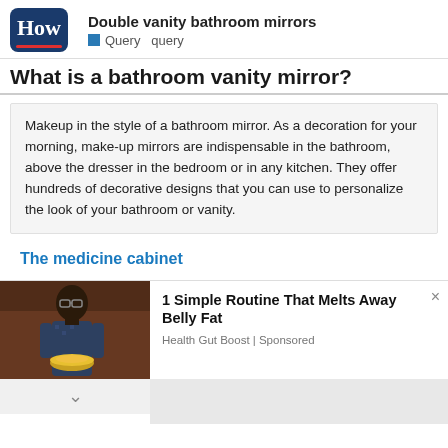[Figure (logo): How logo — dark blue rounded rectangle with white 'How' text and red underline, next to site title 'Double vanity bathroom mirrors' and query tag]
What is a bathroom vanity mirror?
Makeup in the style of a bathroom mirror. As a decoration for your morning, make-up mirrors are indispensable in the bathroom, above the dresser in the bedroom or in any kitchen. They offer hundreds of decorative designs that you can use to personalize the look of your bathroom or vanity.
The medicine cabinet
[Figure (photo): Advertisement image showing a person holding a bowl of food, with dark background]
1 Simple Routine That Melts Away Belly Fat
Health Gut Boost | Sponsored